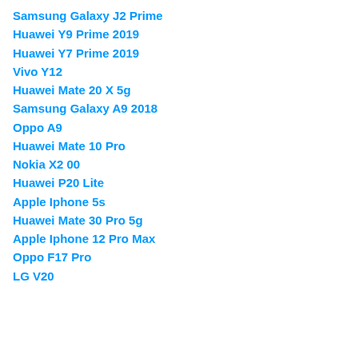Samsung Galaxy J2 Prime
Huawei Y9 Prime 2019
Huawei Y7 Prime 2019
Vivo Y12
Huawei Mate 20 X 5g
Samsung Galaxy A9 2018
Oppo A9
Huawei Mate 10 Pro
Nokia X2 00
Huawei P20 Lite
Apple Iphone 5s
Huawei Mate 30 Pro 5g
Apple Iphone 12 Pro Max
Oppo F17 Pro
LG V20